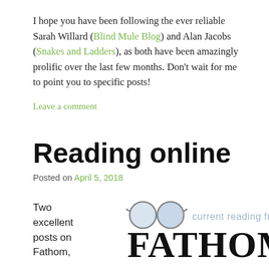I hope you have been following the ever reliable Sarah Willard (Blind Mule Blog) and Alan Jacobs (Snakes and Ladders), as both have been amazingly prolific over the last few months. Don't wait for me to point you to specific posts!
Leave a comment
Reading online
Posted on April 5, 2018
Two excellent posts on Fathom,
[Figure (logo): Fathom magazine logo with round glasses and text 'current reading from FATHOM']